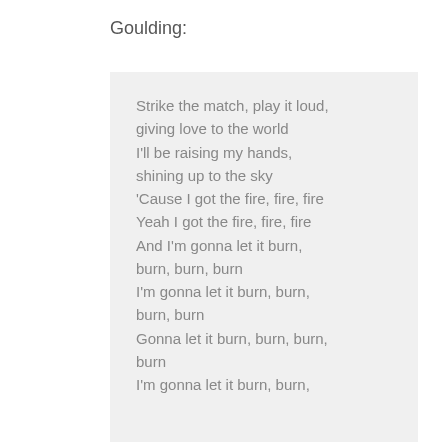Goulding:
Strike the match, play it loud, giving love to the world I'll be raising my hands, shining up to the sky 'Cause I got the fire, fire, fire Yeah I got the fire, fire, fire And I'm gonna let it burn, burn, burn, burn I'm gonna let it burn, burn, burn, burn Gonna let it burn, burn, burn, burn I'm gonna let it burn, burn,